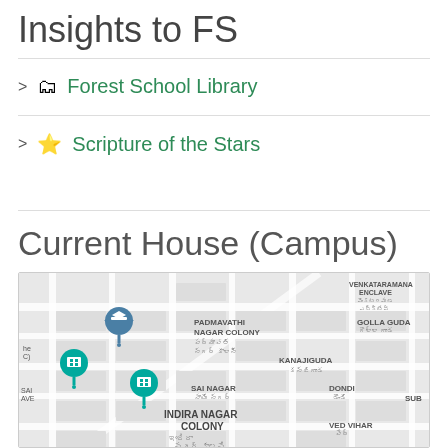Insights to FS
🗂 Forest School Library
⭐ Scripture of the Stars
Current House (Campus)
[Figure (map): Street map showing Padmavathi Nagar Colony, Kanajiguda, Sai Nagar, Indira Nagar Colony, Dondi, Golla Guda, Venkataramana Enclave areas with location pins]